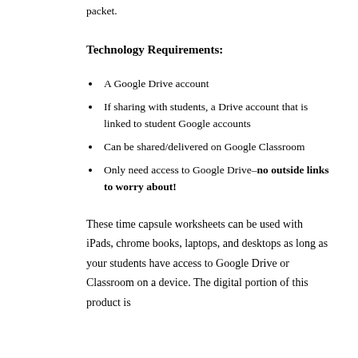packet.
Technology Requirements:
A Google Drive account
If sharing with students, a Drive account that is linked to student Google accounts
Can be shared/delivered on Google Classroom
Only need access to Google Drive–no outside links to worry about!
These time capsule worksheets can be used with iPads, chrome books, laptops, and desktops as long as your students have access to Google Drive or Classroom on a device. The digital portion of this product is